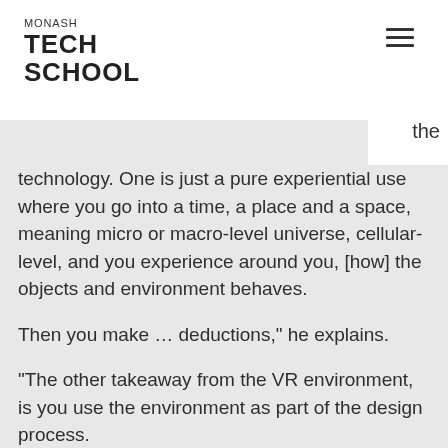MONASH TECH SCHOOL
the technology. One is just a pure experiential use where you go into a time, a place and a space, meaning micro or macro-level universe, cellular-level, and you experience around you, [how] the objects and environment behaves.
Then you make … deductions," he explains.
"The other takeaway from the VR environment, is you use the environment as part of the design process.